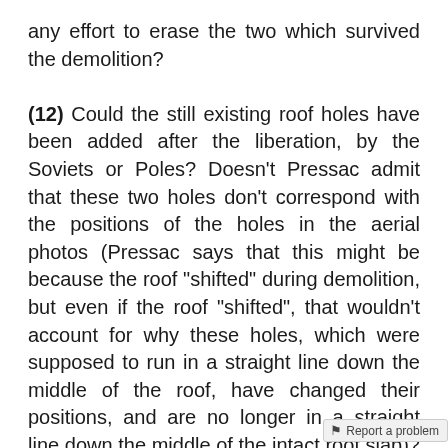any effort to erase the two which survived the demolition?
(12) Could the still existing roof holes have been added after the liberation, by the Soviets or Poles? Doesn't Pressac admit that these two holes don't correspond with the positions of the holes in the aerial photos (Pressac says that this might be because the roof "shifted" during demolition, but even if the roof "shifted", that wouldn't account for why these holes, which were supposed to run in a straight line down the middle of the roof, have changed their positions, and are no longer in a straight line down the middle of the intact roof slab)? These holes are in incredibly bad condition; their edges are consistently rough, with not a